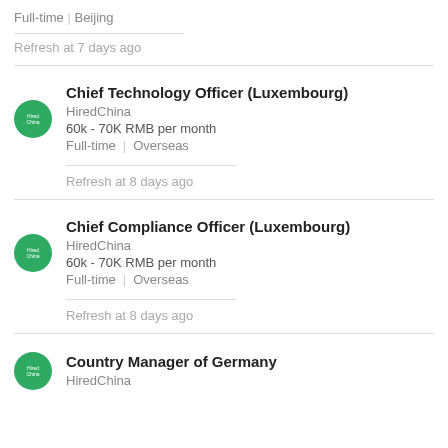Full-time | Beijing
Refresh at 7 days ago
Chief Technology Officer (Luxembourg)
HiredChina
60k - 70K RMB per month
Full-time | Overseas
Refresh at 8 days ago
Chief Compliance Officer (Luxembourg)
HiredChina
60k - 70K RMB per month
Full-time | Overseas
Refresh at 8 days ago
Country Manager of Germany
HiredChina